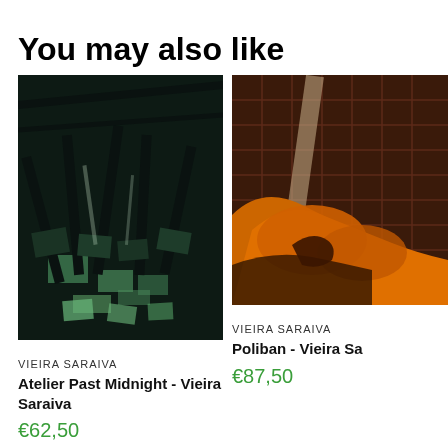You may also like
[Figure (photo): Painting of chairs and tables in a dark room with green highlights - Atelier Past Midnight by Vieira Saraiva]
VIEIRA SARAIVA
Atelier Past Midnight - Vieira Saraiva
€62,50
[Figure (photo): Painting with orange figure and dark red/brown grid background - Poliban by Vieira Saraiva]
VIEIRA SARAIVA
Poliban - Vieira Sa
€87,50